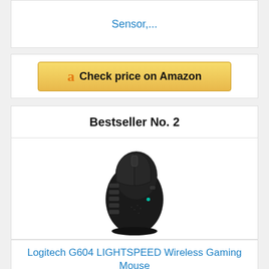Sensor,...
[Figure (other): Amazon affiliate button: Check price on Amazon]
Bestseller No. 2
[Figure (photo): Logitech G604 LIGHTSPEED Wireless Gaming Mouse product photo, black gaming mouse with multiple side buttons]
Logitech G604 LIGHTSPEED Wireless Gaming Mouse with 15...